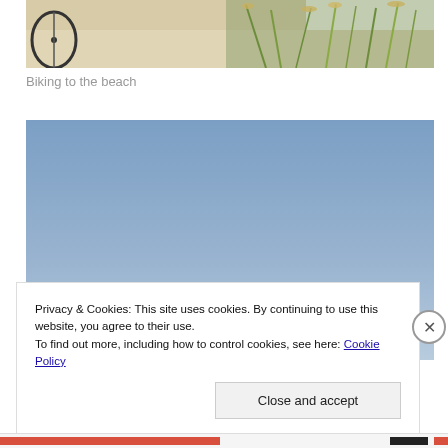[Figure (photo): Beach scene with bicycle wheel visible on left and tall grasses/dunes on right side, sandy ground]
Biking to the beach
[Figure (photo): Exterior photo showing a clear blue sky taking up most of the frame, with the rooftop/peak of a light-colored building visible at the bottom]
Privacy & Cookies: This site uses cookies. By continuing to use this website, you agree to their use.
To find out more, including how to control cookies, see here: Cookie Policy
Close and accept